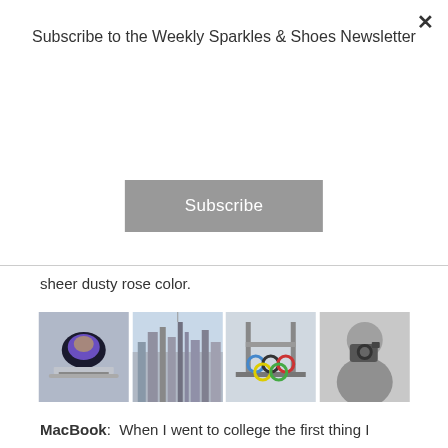Subscribe to the Weekly Sparkles & Shoes Newsletter
Subscribe
sheer dusty rose color.
[Figure (photo): Four photos in a row: MacBook laptop, Empire State Building/NYC skyline, London Bridge with Olympic rings, black-and-white photo of woman with camera]
MacBook: When I went to college the first thing I wanted was a MacBook, I got one and loved it but found there were some limitations with the software compatibility in my Finance major so reluctantly switched to a PC halfway through college. It was not until March, after six months of